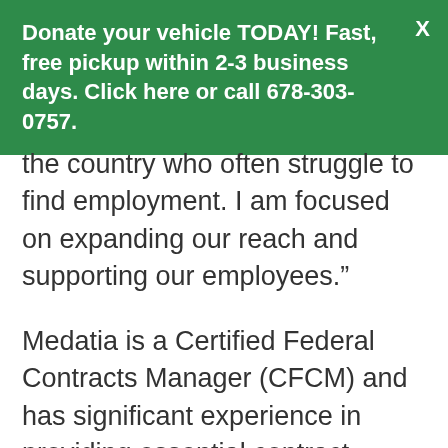Donate your vehicle TODAY! Fast, free pickup within 2-3 business days. Click here or call 678-303-0757.
the country who often struggle to find employment. I am focused on expanding our reach and supporting our employees.”
Medatia is a Certified Federal Contracts Manager (CFCM) and has significant experience in providing essential contract management support for the federal government and private industry.